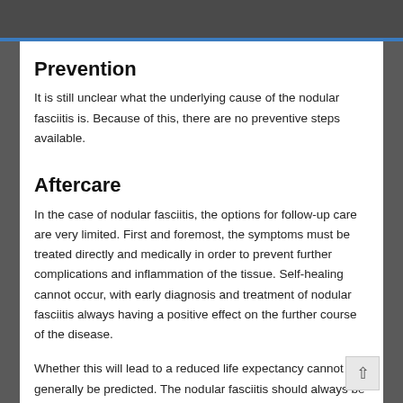Prevention
It is still unclear what the underlying cause of the nodular fasciitis is. Because of this, there are no preventive steps available.
Aftercare
In the case of nodular fasciitis, the options for follow-up care are very limited. First and foremost, the symptoms must be treated directly and medically in order to prevent further complications and inflammation of the tissue. Self-healing cannot occur, with early diagnosis and treatment of nodular fasciitis always having a positive effect on the further course of the disease.
Whether this will lead to a reduced life expectancy cannot generally be predicted. The nodular fasciitis should always be